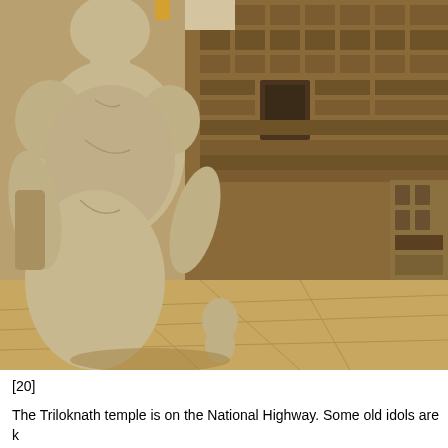[Figure (photo): A large stone statue viewed from behind, standing in front of an ornately carved stone temple facade. The statue appears to be of a human figure. The temple wall shows intricate carvings and architectural details. The ground is paved with large stone slabs. The scene is lit in warm sunlight.]
[20]
The Triloknath temple is on the National Highway. Some old idols are k